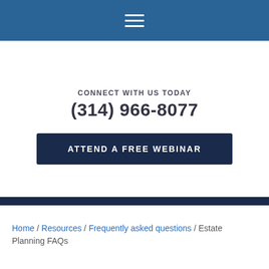Navigation menu icon (hamburger)
CONNECT WITH US TODAY
(314) 966-8077
ATTEND A FREE WEBINAR
Home / Resources / Frequently asked questions / Estate Planning FAQs